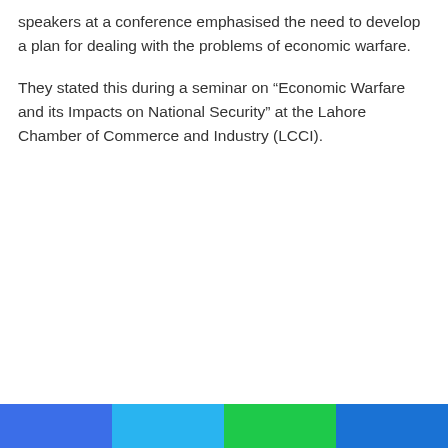speakers at a conference emphasised the need to develop a plan for dealing with the problems of economic warfare.
They stated this during a seminar on “Economic Warfare and its Impacts on National Security” at the Lahore Chamber of Commerce and Industry (LCCI).